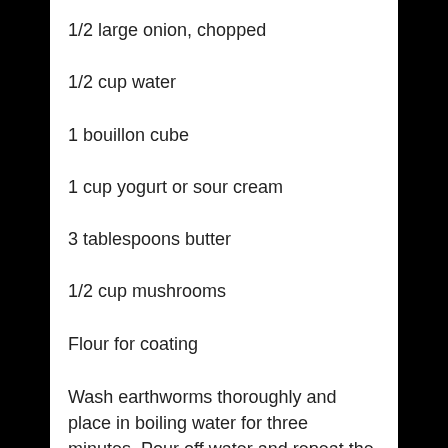1/2 large onion, chopped
1/2 cup water
1 bouillon cube
1 cup yogurt or sour cream
3 tablespoons butter
1/2 cup mushrooms
Flour for coating
Wash earthworms thoroughly and place in boiling water for three minutes. Pour off water and repeat the boiling process twice. Bake on cookie